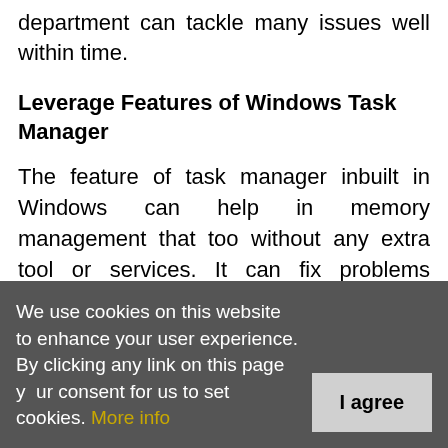department can tackle many issues well within time.
Leverage Features of Windows Task Manager
The feature of task manager inbuilt in Windows can help in memory management that too without any extra tool or services. It can fix problems related to Windows memory management by diagnosing the way of memory allocation. The task manager helps to resolve various desktop related problems by analyzing desktop memory. It monitors the dynamic memory, detects the memory leaks, and resolves them to save the system memory.
Identify Hidden Costs behind Desktop Management
We use cookies on this website to enhance your user experience. By clicking any link on this page you are giving your consent for us to set cookies. More info